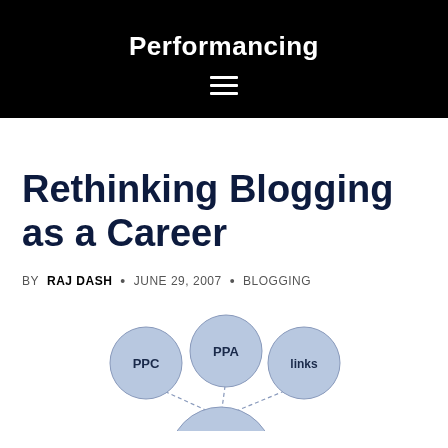Performancing
Rethinking Blogging as a Career
BY RAJ DASH · JUNE 29, 2007 · BLOGGING
[Figure (other): Partial network diagram showing circles labeled PPC, PPA, links connected by dashed lines to a larger circle below]